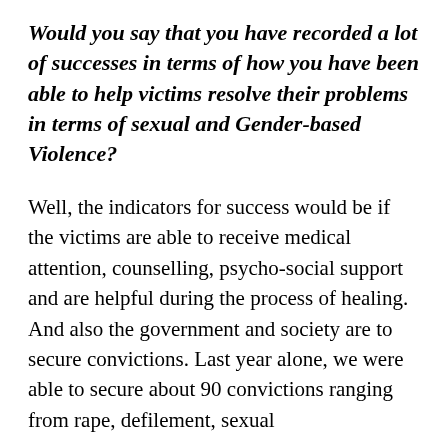Would you say that you have recorded a lot of successes in terms of how you have been able to help victims resolve their problems in terms of sexual and Gender-based Violence?
Well, the indicators for success would be if the victims are able to receive medical attention, counselling, psycho-social support and are helpful during the process of healing. And also the government and society are to secure convictions. Last year alone, we were able to secure about 90 convictions ranging from rape, defilement, sexual